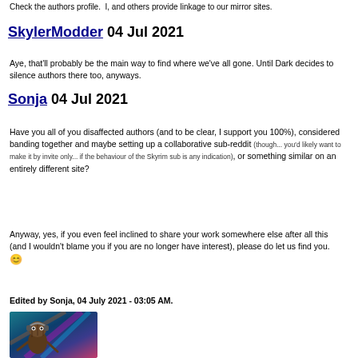Check the authors profile.  I, and others provide linkage to our mirror sites.
SkylerModder 04 Jul 2021
Aye, that'll probably be the main way to find where we've all gone. Until Dark decides to silence authors there too, anyways.
Sonja 04 Jul 2021
Have you all of you disaffected authors (and to be clear, I support you 100%), considered banding together and maybe setting up a collaborative sub-reddit (though... you'd likely want to make it by invite only... if the behaviour of the Skyrim sub is any indication), or something similar on an entirely different site?
Anyway, yes, if you even feel inclined to share your work somewhere else after all this (and I wouldn't blame you if you are no longer have interest), please do let us find you. 🙂
Edited by Sonja, 04 July 2021 - 03:05 AM.
[Figure (photo): Avatar image of a small tree-like creature wearing headphones, with colorful laser/light background]